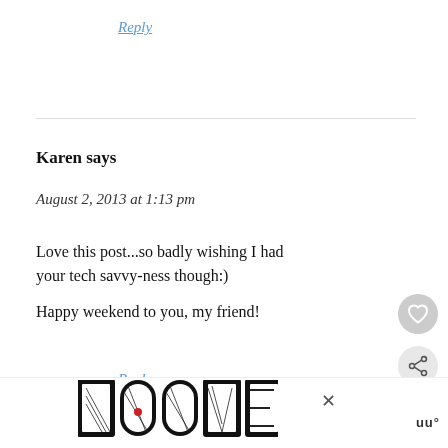Reply
Karen says
August 2, 2013 at 1:13 pm
Love this post...so badly wishing I had your tech savvy-ness though:)

Happy weekend to you, my friend!
Reply
[Figure (illustration): LOVE text logo in decorative black and white pattern with a small red heart accent]
[Figure (screenshot): What's Next widget showing MERF: Teaching... with a circular thumbnail photo]
[Figure (other): Heart/like floating button icon (grey circle with heart outline)]
[Figure (other): Share floating button icon (grey circle with share icon)]